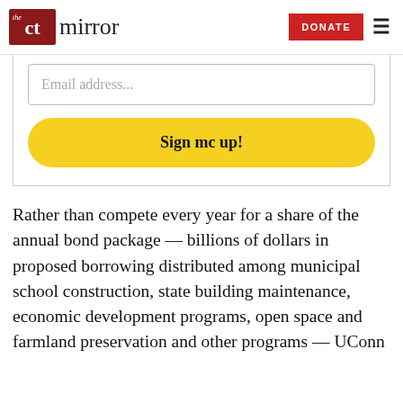The CT Mirror — DONATE
Email address...
Sign me up!
Rather than compete every year for a share of the annual bond package — billions of dollars in proposed borrowing distributed among municipal school construction, state building maintenance, economic development programs, open space and farmland preservation and other programs — UConn